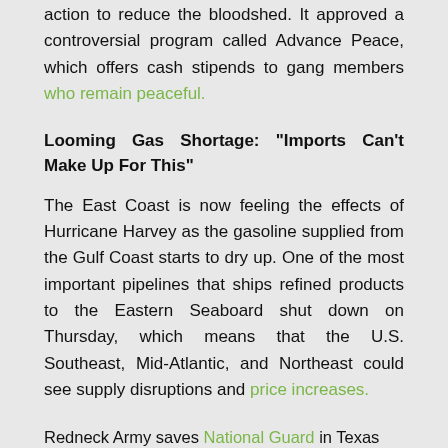action to reduce the bloodshed. It approved a controversial program called Advance Peace, which offers cash stipends to gang members who remain peaceful.
Looming Gas Shortage: “Imports Can’t Make Up For This”
The East Coast is now feeling the effects of Hurricane Harvey as the gasoline supplied from the Gulf Coast starts to dry up. One of the most important pipelines that ships refined products to the Eastern Seaboard shut down on Thursday, which means that the U.S. Southeast, Mid-Atlantic, and Northeast could see supply disruptions and price increases.
Redneck Army saves National Guard in Texas
Fall Is In The Air